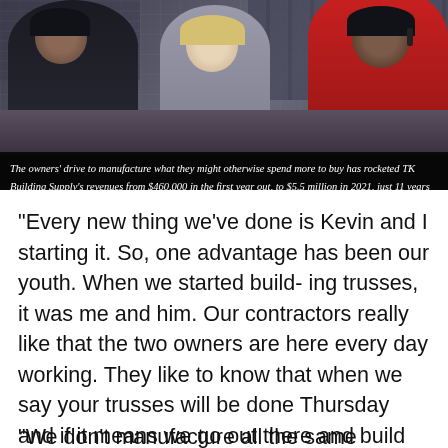[Figure (photo): Three people in a building supply store — a person in a dark jacket on the left, a blonde woman in the center smiling, and a person in a red polo shirt on the right talking on a phone, standing behind a counter with store shelving in the background.]
The owners' drive to manufacture what they might otherwise spend more to buy has rocketed TK Building Supply's revenues from $460,000 in the first year out, to $5.5 million in 2021, just 11 years later.
“Every new thing we’ve done is Kevin and I starting it. So, one advantage has been our youth. When we started build- ing trusses, it was me and him. Our contractors really like that the two owners are here every day working. They like to know that when we say your trusses will be done Thursday and if it means we go out there and build them ourselves to make it happen, we will.”
“We don’t manufacture all the same fasteners,” Kevin